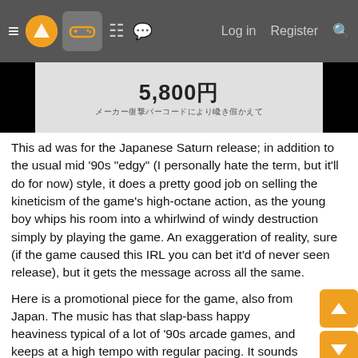≡ [logo] [controller icon] [grid icon] [chat icon]   Log in   Register   🔍
[Figure (photo): Black-bordered image showing price tag '5,800円' with Japanese text below on a light background]
This ad was for the Japanese Saturn release; in addition to the usual mid '90s "edgy" (I personally hate the term, but it'll do for now) style, it does a pretty good job on selling the kineticism of the game's high-octane action, as the young boy whips his room into a whirlwind of windy destruction simply by playing the game. An exaggeration of reality, sure (if the game caused this IRL you can bet it'd of never seen release), but it gets the message across all the same.
Here is a promotional piece for the game, also from Japan. The music has that slap-bass happy heaviness typical of a lot of '90s arcade games, and keeps at a high tempo with regular pacing. It sounds pretty mechanical in terms of precision, fitting the game's theme. The various Virtualoids are shown off throughout; one could almost take this as a concept for the attract sequence of the arcade game.